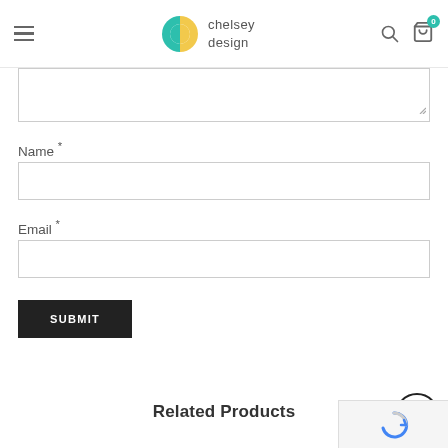chelsey design — navigation header with hamburger menu, logo, search and cart icons
Name *
Email *
SUBMIT
Related Products